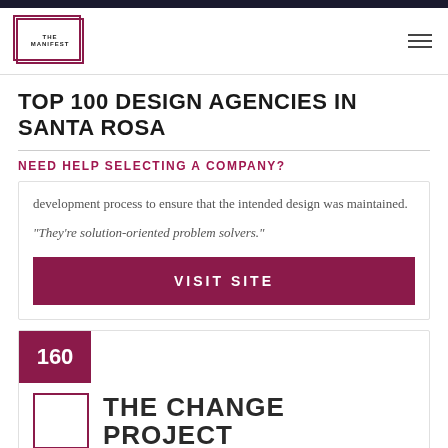THE MANIFEST
TOP 100 DESIGN AGENCIES IN SANTA ROSA
NEED HELP SELECTING A COMPANY?
development process to ensure that the intended design was maintained.
"They’re solution-oriented problem solvers."
VISIT SITE
160
THE CHANGE PROJECT